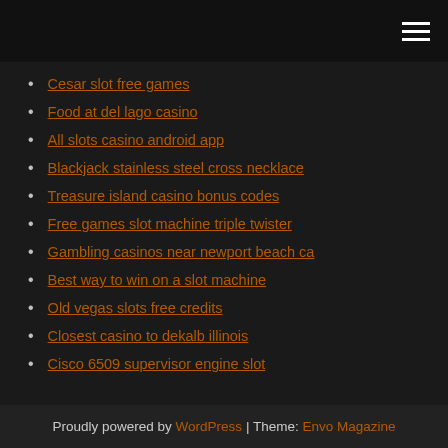Cesar slot free games
Food at del lago casino
All slots casino android app
Blackjack stainless steel cross necklace
Treasure island casino bonus codes
Free games slot machine triple twister
Gambling casinos near newport beach ca
Best way to win on a slot machine
Old vegas slots free credits
Closest casino to dekalb illinois
Cisco 6509 supervisor engine slot
Proudly powered by WordPress | Theme: Envo Magazine